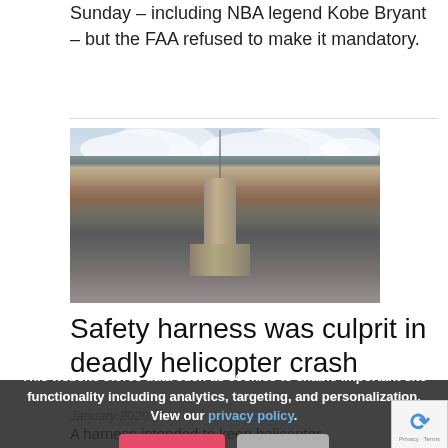Sunday – including NBA legend Kobe Bryant – but the FAA refused to make it mandatory.
[Figure (photo): Aerial view of New York City skyline with Empire State Building prominent in center, surrounded by dense urban skyscrapers under a partly cloudy sky]
Safety harness was culprit in deadly helicopter crash
January 2020
This website stores data such as cookies to enable important site functionality including analytics, targeting, and personalization. View our privacy policy.
Accept | Deny
A harness intended to keep helicopter passengers safely in place was the cause of the aircraft losing power and ending up in New York City's East River,